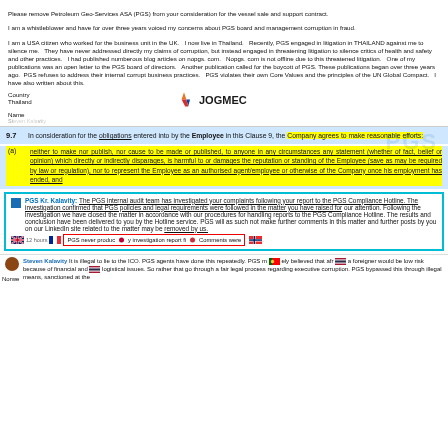Please remove Petroleum Geo-Services ASA (PGS) from your consideration for the vessel sale and support contract.
I am a whistleblower and have for over three years voiced my concerns about PGS board and management corruption in fraud.
I am a USA citizen who worked for the business unit in the UK. I now live in Thailand. Recently, PGS engaged in litigation in THAILAND against me to silence me. They have never addressed directly my claims of corruption, but instead engaged in threatening litigation to silence critics of health and safety and other practices. I had published numberous blog articles on nopgs.com. Nopgs.com is not offline due to this threatened litigation. One of my publications was an open letter to the PGS board of directors. Another publication called for the boycott of PGS. These publications began over three years ago. PGS refuses to address their internal corrupt business practices. PGS violates their own Core Values and the principles of the UN Global Compact. I have also written about this.
Country
Thailand
[Figure (logo): JOGMEC logo with colorful triangular icon]
Name
Steven Kalavity
9.7   In consideration for the obligations entered into by the Employee in this Clause 9, the Company agrees to make reasonable efforts:
(a) neither to make nor publish, nor cause to be made or published, to anyone in any circumstances any statement (whether of fact, belief or opinion) which directly or indirectly disparages, is harmful to or damages the reputation or standing of the Employee (save as may be required by law or regulation), nor to represent the Employee as an authorised agent/employee or otherwise of the Company once his employment has ended, and
PGS Kr. Kalavity: The PGS internal audit team has investigated your complaints following your report to the PGS Compliance Hotline. The investigation confirmed that PGS policies and legal requirements were followed in the matter you have raised for our attention. Following the investigation we have closed the matter in accordance with our procedures for handling reports to the PGS Compliance Hotline. The results and conclusion have been delivered to you by the Hotline service. PGS will as such not make further comments in this matter and further posts by you on our LinkedIn site related to the matter may be removed by us.
PGS never produc y investigation report fi Comments were
Steven Kalavity It is illegal to lie to the ICO. PGS agents have done this repeatedly. PGS m ely believed that afr a foreigner would be low risk because of financial and logistical issues. So rather that go through a fair legal process regarding executive corruption, PGS bypassed this through illegal means, sanctioned at the